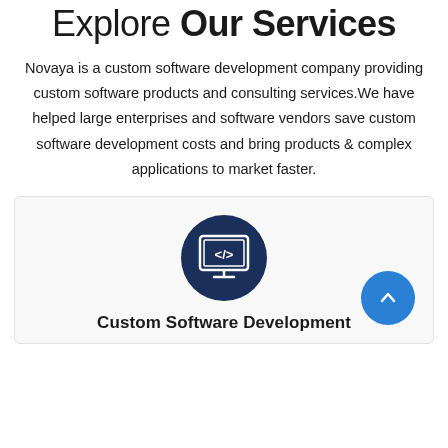Explore Our Services
Novaya is a custom software development company providing custom software products and consulting services.We have helped large enterprises and software vendors save custom software development costs and bring products & complex applications to market faster.
[Figure (illustration): Card with dark navy circle icon showing a code/monitor symbol (</> on a screen), and a blue circular scroll-up button in the lower right. Below the icon is the beginning of a label 'Custom Software Development'.]
Custom Software Development